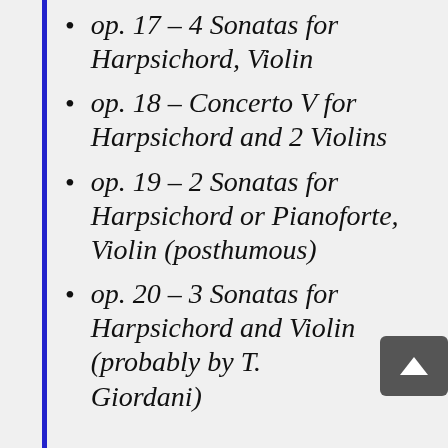op. 17 – 4 Sonatas for Harpsichord, Violin
op. 18 – Concerto V for Harpsichord and 2 Violins
op. 19 – 2 Sonatas for Harpsichord or Pianoforte, Violin (posthumous)
op. 20 – 3 Sonatas for Harpsichord and Violin (probably by T. Giordani)